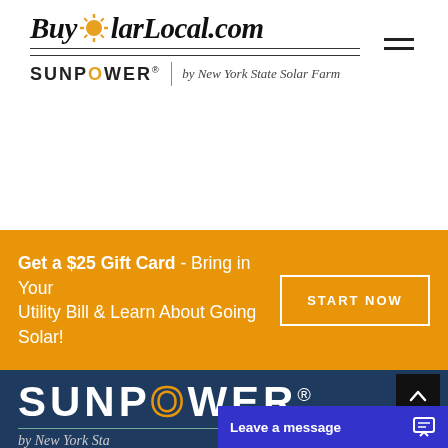[Figure (logo): BuySolarLocal.com logo with sun icon in italic serif font, followed by SUNPOWER by New York State Solar Farm branding below a horizontal line]
[Figure (infographic): Orange promotional banner: Get a $25 Gift Card - Bring in Your Utility Bill & Learn About Going Solar! with START NOW button]
[Figure (logo): SUNPOWER large white text on dark navy blue background with orange O ring, followed by by New York Sta... text]
[Figure (infographic): Leave a message chat widget button in blue, positioned at bottom right, with chat bubble icon]